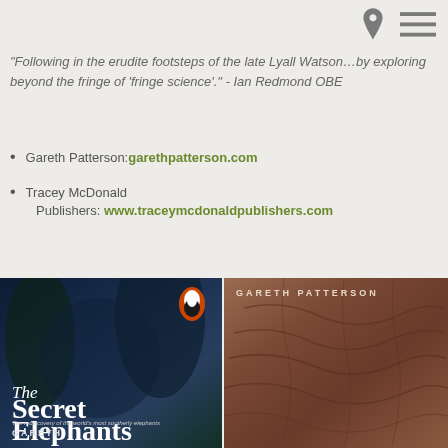[location icon] [menu icon]
"Following in the erudite footsteps of the late Lyall Watson…by exploring beyond the fringe of 'fringe science'." - Ian Redmond OBE
Gareth Patterson: garethpatterson.com
Tracey McDonald Publishers: www.traceymcdonaldpublishers.com
[Figure (photo): Book cover of 'The Secret Elephants' by Gareth Patterson, showing a dark forest scene with a Penguin Books logo, subtitle 'The rediscovery of the world's most southerly elephants']
[Figure (photo): Book cover by Gareth Patterson showing a close-up of elephant skin in earthy brown tones with the author name at top]